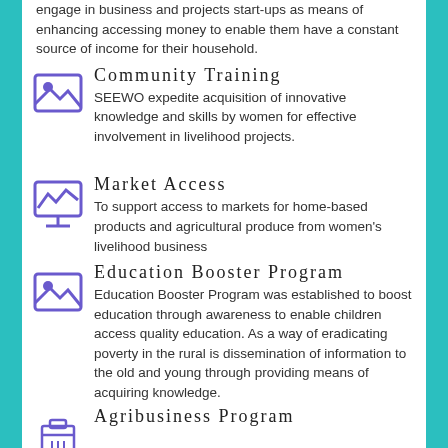engage in business and projects start-ups as means of enhancing accessing money to enable them have a constant source of income for their household.
[Figure (illustration): Purple icon of a landscape/image placeholder with mountain and sun]
Community Training
SEEWO expedite acquisition of innovative knowledge and skills by women for effective involvement in livelihood projects.
[Figure (illustration): Purple icon of a presentation chart/graph on a board]
Market Access
To support access to markets for home-based products and agricultural produce from women's livelihood business
[Figure (illustration): Purple icon of a landscape/image placeholder with mountain and sun]
Education Booster Program
Education Booster Program was established to boost education through awareness to enable children access quality education. As a way of eradicating poverty in the rural is dissemination of information to the old and young through providing means of acquiring knowledge.
[Figure (illustration): Purple icon of a briefcase/agribusiness]
Agribusiness Program